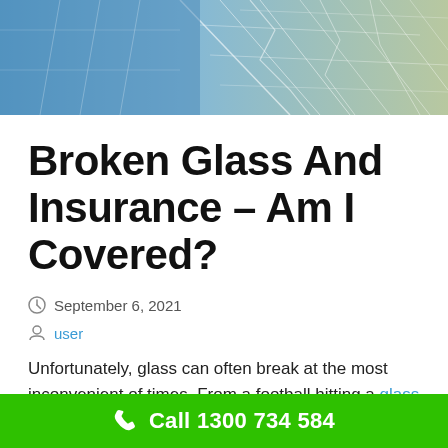[Figure (photo): Close-up photograph of cracked/shattered glass with blue tones and geometric patterns]
Broken Glass And Insurance – Am I Covered?
September 6, 2021
user
Unfortunately, glass can often break at the most inconvenient of times. From a football hitting a glass door to
Call 1300 734 584